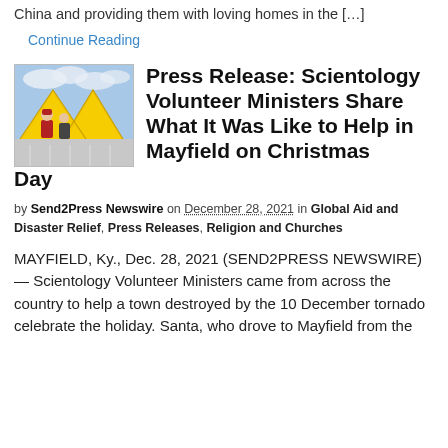China and providing them with loving homes in the […]
Continue Reading
[Figure (photo): Photo of Santa Claus and another person in front of large yellow tented structures outdoors.]
Press Release: Scientology Volunteer Ministers Share What It Was Like to Help in Mayfield on Christmas Day
by Send2Press Newswire on December 28, 2021 in Global Aid and Disaster Relief, Press Releases, Religion and Churches
MAYFIELD, Ky., Dec. 28, 2021 (SEND2PRESS NEWSWIRE) — Scientology Volunteer Ministers came from across the country to help a town destroyed by the 10 December tornado celebrate the holiday. Santa, who drove to Mayfield from the